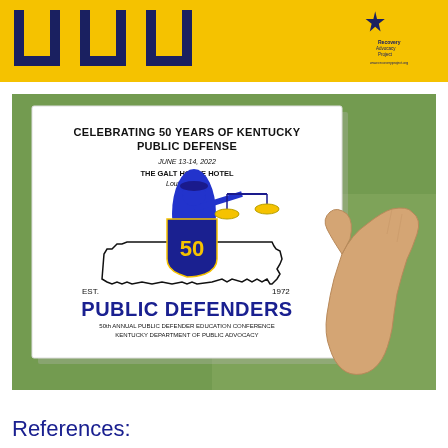[Figure (logo): Yellow header bar with three large dark blue stylized letter shapes (U or bracket shapes) and a small Recovery Advocacy Project star logo in the top right corner]
[Figure (photo): A hand holding a printed flyer outdoors on grass. The flyer reads: CELEBRATING 50 YEARS OF KENTUCKY PUBLIC DEFENSE, JUNE 13-14, 2022, THE GALT HOUSE HOTEL, Louisville, KY. Features a logo of Lady Justice holding scales, standing over an outline of Kentucky state, holding a shield with '50'. EST. 1972. PUBLIC DEFENDERS. 50th ANNUAL PUBLIC DEFENDER EDUCATION CONFERENCE, KENTUCKY DEPARTMENT OF PUBLIC ADVOCACY.]
References: